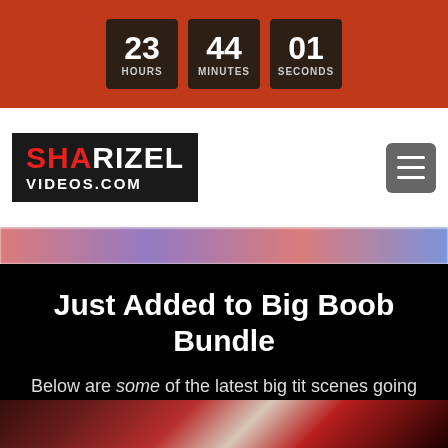[Figure (other): Countdown timer showing 23 hours, 44 minutes, 01 seconds on a dark red background]
[Figure (logo): ShaRizel Videos.com logo in black box with red SHA and white RIZEL text, plus hamburger menu icon]
Just Added to Big Boob Bundle
Below are some of the latest big tit scenes going live today!
[Figure (photo): Woman in red jacket with dark hair, partial view at bottom of page]